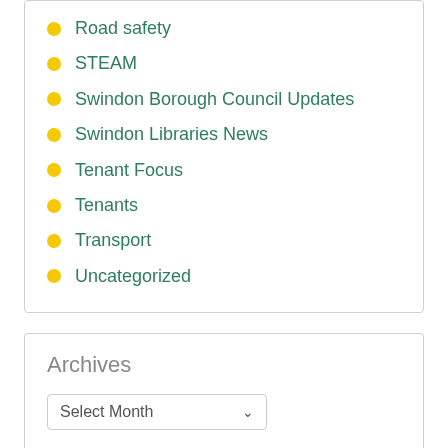Road safety
STEAM
Swindon Borough Council Updates
Swindon Libraries News
Tenant Focus
Tenants
Transport
Uncategorized
Archives
Select Month